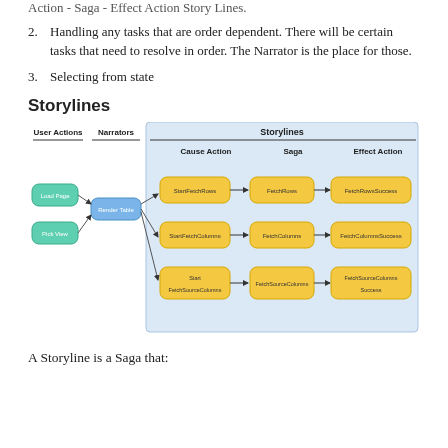Handling any tasks that are order dependent. There will be certain tasks that need to resolve in order. The Narrator is the place for those.
Selecting from state
Storylines
[Figure (flowchart): Diagram showing User Actions (Load Page, Pick View) feeding into a Narrator (Render Table) which connects to Storylines with three rows: StartFetchRows -> FetchRows -> FetchRowsSuccess; StartFetchColumns -> FetchColumns -> FetchColumnsSuccess; StartFetchSourceColumns -> FetchSourceColumns -> FetchSourceColumnsSuccess. Columns labeled: Cause Action, Saga, Effect Action.]
A Storyline is a Saga that: